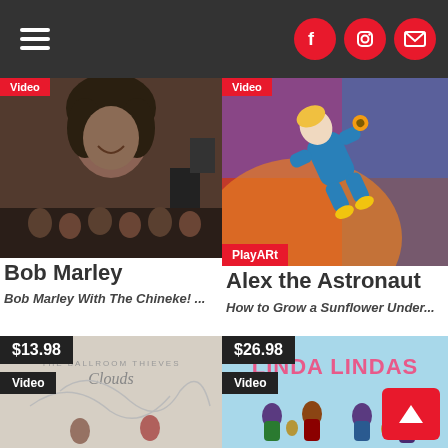Navigation header with hamburger menu and social icons (Facebook, Instagram, Email)
[Figure (photo): Bob Marley photo with orchestra/band members]
[Figure (photo): Alex the Astronaut illustrated artwork - person in blue suit floating with yellow sunflower]
Bob Marley
Bob Marley With The Chineke! ...
Alex the Astronaut
How to Grow a Sunflower Under...
[Figure (photo): Clouds album art - The Ballroom Thieves, minimalist design with figure]
[Figure (photo): Linda Lindas album art - illustrated band members playing instruments]